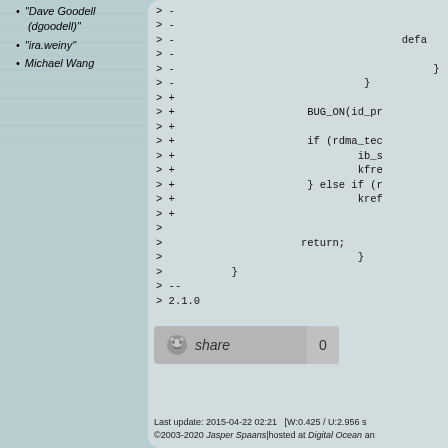"Dave Goodell (dgoodell)"
"ira.weiny"
Michael Wang
[Figure (screenshot): Code diff snippet showing lines with > - and > + prefixes, containing code fragments like defa, BUG_ON(id_pr, if (rdma_tec, ib_s, kfre, } else if (r, kref, return;, closing braces, --, 2.1.0]
[Figure (other): Reddit share button showing share label and count of 0]
Last update: 2015-04-22 02:21   [W:0.425 / U:2.956 s
©2003-2020 Jasper Spaans|hosted at Digital Ocean an